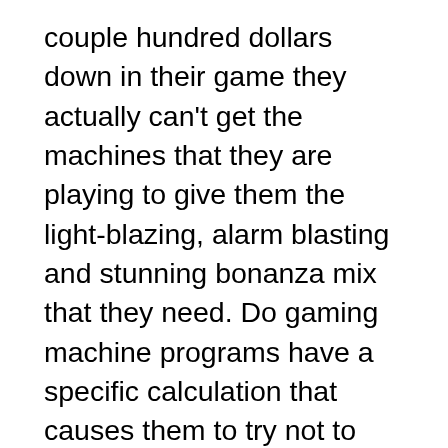couple hundred dollars down in their game they actually can't get the machines that they are playing to give them the light-blazing, alarm blasting and stunning bonanza mix that they need. Do gaming machine programs have a specific calculation that causes them to try not to arrange the symbols that can give you a major success or are these twists generally irregular? With the more established gambling machines that didn't depend on PC programs for them to run before, the possibilities you have of winning and losing can be effortlessly considered to be irregular since these don't have specific projects that make them run and are precisely worked rather than PC modified. With the more current models of gambling machines that